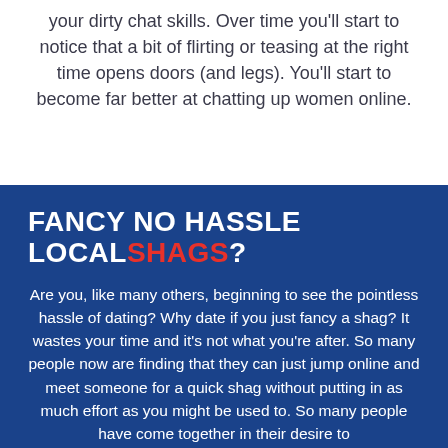your dirty chat skills. Over time you'll start to notice that a bit of flirting or teasing at the right time opens doors (and legs). You'll start to become far better at chatting up women online.
FANCY NO HASSLE LOCALSHAGS?
Are you, like many others, beginning to see the pointless hassle of dating? Why date if you just fancy a shag? It wastes your time and it's not what you're after. So many people now are finding that they can just jump online and meet someone for a quick shag without putting in as much effort as you might be used to. So many people have come together in their desire to